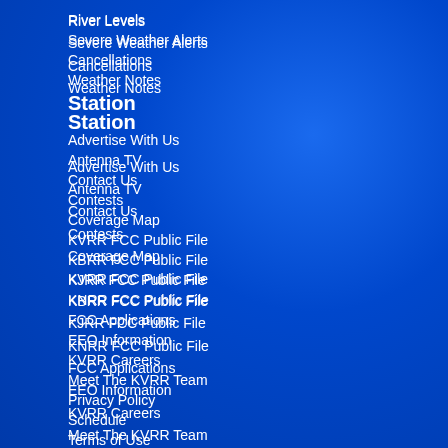River Levels
Severe Weather Alerts
Cancellations
Weather Notes
Station
Advertise With Us
Antenna TV
Contact Us
Contests
Coverage Map
KVRR FCC Public File
KBRR FCC Public File
KJRR FCC Public File
KNRR FCC Public File
FCC Applications
EEO Information
KVRR Careers
Meet The KVRR Team
Privacy Policy
Schedule
Terms of Use
© 2022 KVRR Local News.
[Figure (logo): TN News logo with orange T and green N letters]